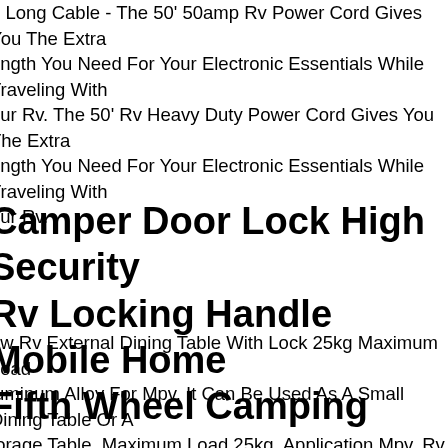0 Long Cable - The 50' 50amp Rv Power Cord Gives You The Extra Length You Need For Your Electronic Essentials While Traveling With our Rv. The 50' Rv Heavy Duty Power Cord Gives You The Extra Length You Need For Your Electronic Essentials While Traveling With our Rv.
Camper Door Lock High Security Rv Locking Handle Mobile Home Fifth Wheel Camping
ew Rv External Dining Table With Lock 25kg Maximum Load luminum Alloy For Mpv. It Can Be Used As A Small Dining Table Or A torage Table. Maximum Load 25kg. Application Mpv, Rv, Boat, utdoor Camping And Other Activities. Item Type Rv External Dining ble. With Lock And Keys With Locks On The Sides And Four Keys,